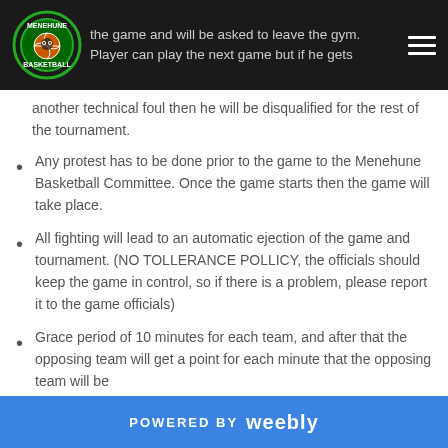the game and will be asked to leave the gym. Player can play the next game but if he gets another technical foul then he will be disqualified for the rest of the tournament.
Any protest has to be done prior to the game to the Menehune Basketball Committee. Once the game starts then the game will take place.
All fighting will lead to an automatic ejection of the game and tournament. (NO TOLLERANCE POLLICY, the officials should keep the game in control, so if there is a problem, please report it to the game officials)
Grace period of 10 minutes for each team, and after that the opposing team will get a point for each minute that the opposing team will be
POWERED BY weebly